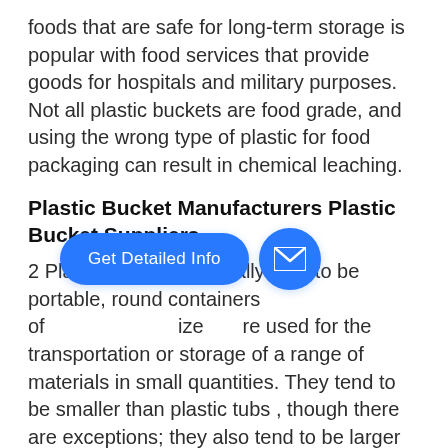foods that are safe for long-term storage is popular with food services that provide goods for hospitals and military purposes. Not all plastic buckets are food grade, and using the wrong type of plastic for food packaging can result in chemical leaching.
Plastic Bucket Manufacturers Plastic Bucket Suppliers
2 Plastic buckets generally tend to be portable, round containers of various sizes that are used for the transportation or storage of a range of materials in small quantities. They tend to be smaller than plastic tubs , though there are exceptions; they also tend to be larger than plastic bottles, though there are exceptions.
Plastic Buckets and Pails - Innopack
2 7.5-Liter Oval Plastic Bucket. 7.5-Liter Oval Plastic